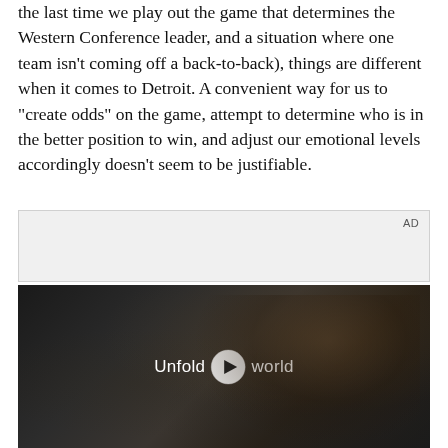the last time we play out the game that determines the Western Conference leader, and a situation where one team isn't coming off a back-to-back), things are different when it comes to Detroit. A convenient way for us to "create odds" on the game, attempt to determine who is in the better position to win, and adjust our emotional levels accordingly doesn't seem to be justifiable.
[Figure (other): Advertisement placeholder box with 'AD' label in top right corner, light gray background]
[Figure (screenshot): Video advertisement screenshot showing a dark car interior scene with a person holding a phone, overlaid with text 'Unfold your world' and a play button icon in the center]